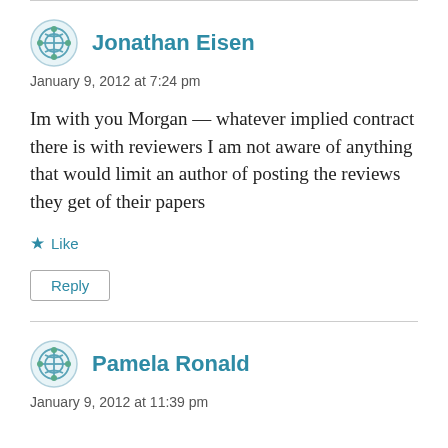Jonathan Eisen
January 9, 2012 at 7:24 pm
Im with you Morgan — whatever implied contract there is with reviewers I am not aware of anything that would limit an author of posting the reviews they get of their papers
Like
Reply
Pamela Ronald
January 9, 2012 at 11:39 pm